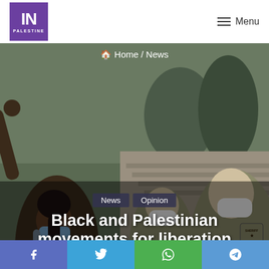IN PALESTINE — Menu
[Figure (photo): A protest scene showing Black demonstrators and sheriff deputies wearing masks, facing each other on outdoor steps. One protester raises a fist.]
Home / News
News | Opinion
Black and Palestinian movements for liberation